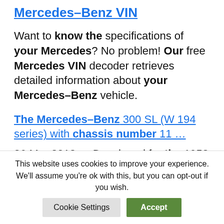Mercedes–Benz VIN
Want to know the specifications of your Mercedes? No problem! Our free Mercedes VIN decoder retrieves detailed information about your Mercedes–Benz vehicle.
The Mercedes–Benz 300 SL (W 194 series) with chassis number 11 ...
26 Mar 2012 ... Developed for the 1953 racing season, it did not see
This website uses cookies to improve your experience. We'll assume you're ok with this, but you can opt-out if you wish.
Cookie Settings  Accept